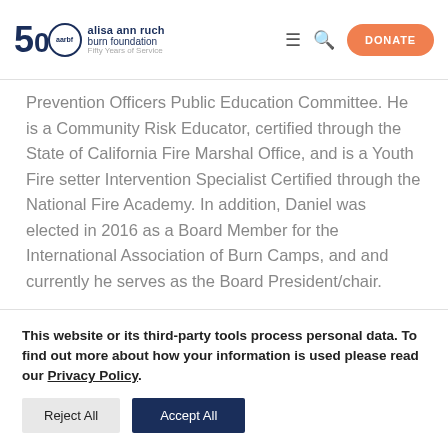alisa ann ruch burn foundation | Fifty Years of Service | DONATE
Prevention Officers Public Education Committee. He is a Community Risk Educator, certified through the State of California Fire Marshal Office, and is a Youth Fire setter Intervention Specialist Certified through the National Fire Academy. In addition, Daniel was elected in 2016 as a Board Member for the International Association of Burn Camps, and and currently he serves as the Board President/chair.
This website or its third-party tools process personal data. To find out more about how your information is used please read our Privacy Policy.